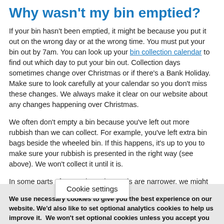Why wasn't my bin emptied?
If your bin hasn't been emptied, it might be because you put it out on the wrong day or at the wrong time. You must put your bin out by 7am. You can look up your bin collection calendar to find out which day to put your bin out. Collection days sometimes change over Christmas or if there's a Bank Holiday. Make sure to look carefully at your calendar so you don't miss these changes. We always make it clear on our website about any changes happening over Christmas.
We often don't empty a bin because you've left out more rubbish than we can collect. For example, you've left extra bin bags beside the wheeled bin. If this happens, it's up to you to make sure your rubbish is presented in the right way (see above). We won't collect it until it is.
In some parts of town where the roads are narrower, we might not be able to drive the [Cookie settings] road if there are cars parked on both sides.
We use necessary cookies to give you the best experience on our website. We'd also like to set optional analytics cookies to help us improve it.  We won't set optional cookies unless you accept you can find more information on our